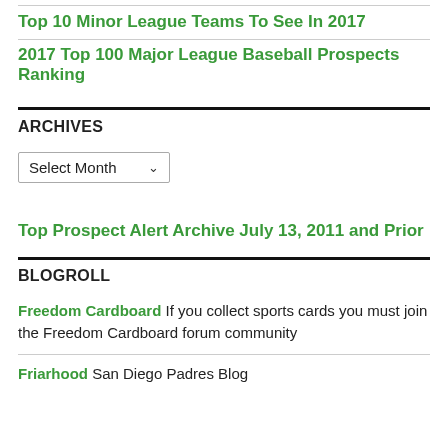Top 10 Minor League Teams To See In 2017
2017 Top 100 Major League Baseball Prospects Ranking
ARCHIVES
Select Month
Top Prospect Alert Archive July 13, 2011 and Prior
BLOGROLL
Freedom Cardboard If you collect sports cards you must join the Freedom Cardboard forum community
Friarhood San Diego Padres Blog